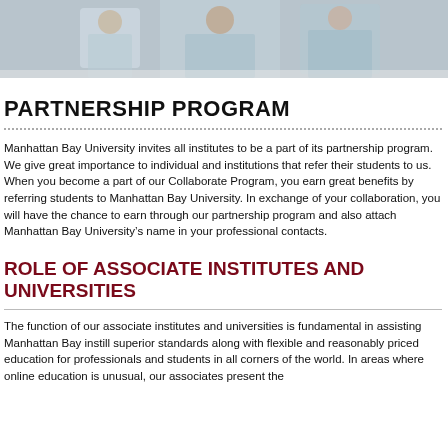[Figure (photo): Banner photo of people, appears to show individuals against a light background]
PARTNERSHIP PROGRAM
Manhattan Bay University invites all institutes to be a part of its partnership program. We give great importance to individual and institutions that refer their students to us. When you become a part of our Collaborate Program, you earn great benefits by referring students to Manhattan Bay University. In exchange of your collaboration, you will have the chance to earn through our partnership program and also attach Manhattan Bay University’s name in your professional contacts.
ROLE OF ASSOCIATE INSTITUTES AND UNIVERSITIES
The function of our associate institutes and universities is fundamental in assisting Manhattan Bay instill superior standards along with flexible and reasonably priced education for professionals and students in all corners of the world. In areas where online education is unusual, our associates present the